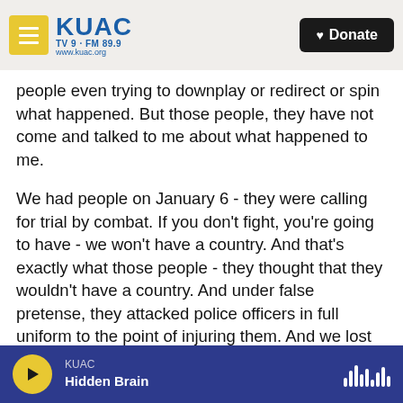KUAC TV 9 · FM 89.9 www.kuac.org | Donate
people even trying to downplay or redirect or spin what happened. But those people, they have not come and talked to me about what happened to me.
We had people on January 6 - they were calling for trial by combat. If you don't fight, you're going to have - we won't have a country. And that's exactly what those people - they thought that they wouldn't have a country. And under false pretense, they attacked police officers in full uniform to the point of injuring them. And we lost at least five officers due to that horrible day. And I almost lost my life,
KUAC | Hidden Brain